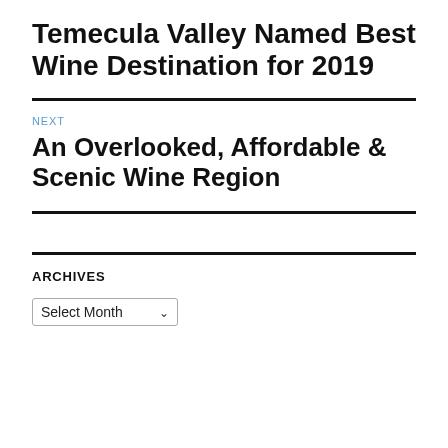Temecula Valley Named Best Wine Destination for 2019
NEXT
An Overlooked, Affordable & Scenic Wine Region
ARCHIVES
Select Month